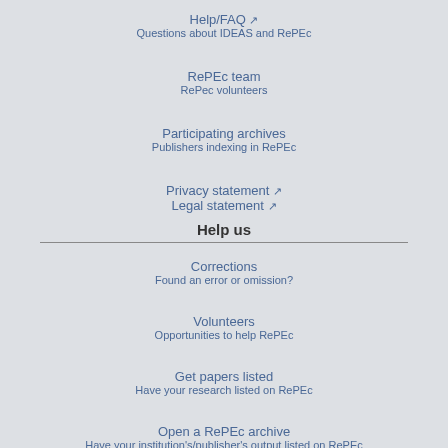Help/FAQ [external link]
Questions about IDEAS and RePEc
RePEc team
RePEc volunteers
Participating archives
Publishers indexing in RePEc
Privacy statement [external link]
Legal statement [external link]
Help us
Corrections
Found an error or omission?
Volunteers
Opportunities to help RePEc
Get papers listed
Have your research listed on RePEc
Open a RePEc archive
Have your institution's/publisher's output listed on RePEc